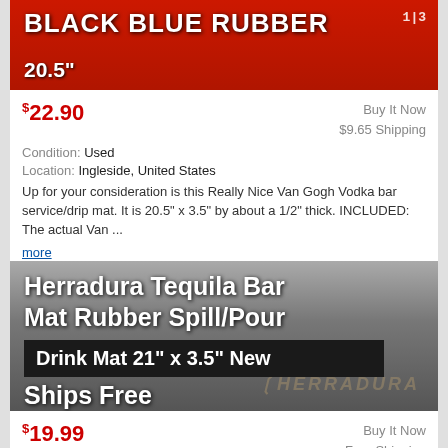[Figure (photo): Red/black rubber bar mat with 'BLACK BLUE RUBBER' text and '20.5"' measurement label, with ruler visible at right]
$22.90
Buy It Now
$9.65 Shipping
Condition: Used
Location: Ingleside, United States
Up for your consideration is this Really Nice Van Gogh Vodka bar service/drip mat. It is 20.5" x 3.5" by about a 1/2" thick. INCLUDED: The actual Van ... more
[Figure (photo): Herradura Tequila Bar Mat Rubber Spill/Pour Drink Mat 21" x 3.5" New Ships Free - dark gray gradient background with black bar showing Herradura logo watermark]
$19.99
Buy It Now
Free Shipping
Condition: New – Open box
Location: Crestwood, United States
I look forward to hearing from you. If it is new it must